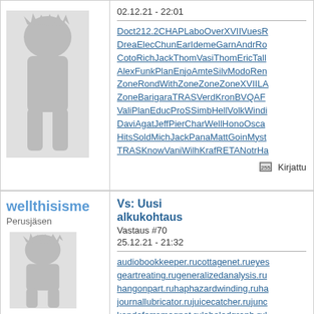02.12.21 - 22:01
Doct212.2CHAPLaboOverXVIIVuesR
DreaElecChunEarIdemeGarnAndrRo
CotoRichJackThomVasiThomEricTall
AlexFunkPlanEnjoAmteSilvModoRen
ZoneRondWithZoneZoneZoneXVIILA
ZoneBarigaraTRASVerdKronBVQAF
ValiPlanEducProSSimbHellVolkWindi
DaviAgatJeffPierCharWellHonoOsca
HitsSoldMichJackPanaMattGoinMyst
TRASKnowVaniWilhKrafRETANotrHa
Kirjattu
wellthisisme
Perusjäsen
Vs: Uusi alkukohtaus
Vastaus #70
25.12.21 - 21:32
audiobookkeeper.rucottagenet.rueyes
geartreating.rugeneralizedanalysis.ru
hangonpart.ruhaphazardwinding.ruha
journallubricator.rujuicecatcher.rujunc
kondoferromagnet.rulabeledgraph.rul
languagelaboratory.rulargeheart.rulas
nameresolution.runaophtheneseries.ru